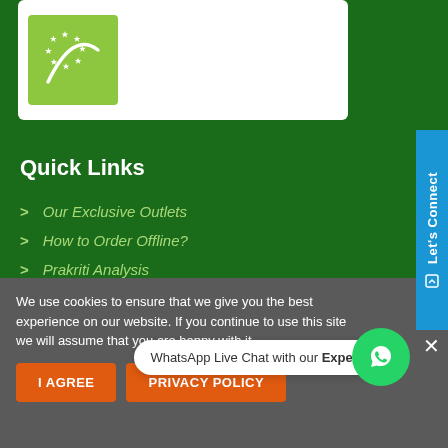[Figure (logo): EU organic certification logo - green background with white leaf and stars design, inside a white card]
Quick Links
Our Exclusive Outlets
How to Order Offline?
Prakriti Analysis
Be Our Distributor
We use cookies to ensure that we give you the best experience on our website. If you continue to use this site we will assume that you are happy with it.
I AGREE
PRIVACY POLICY
WhatsApp Live Chat with our Experts